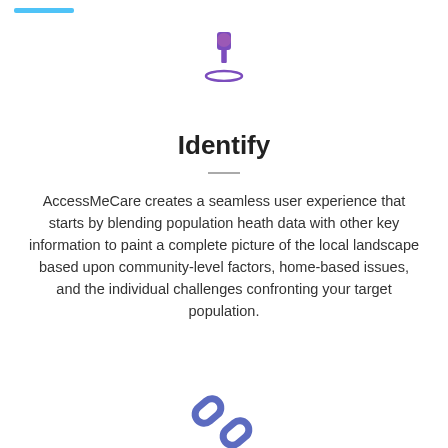[Figure (illustration): Purple thumbtack / pin icon centered at top]
Identify
AccessMeCare creates a seamless user experience that starts by blending population heath data with other key information to paint a complete picture of the local landscape based upon community-level factors, home-based issues, and the individual challenges confronting your target population.
[Figure (illustration): Blue/purple chain link icon]
Intervene